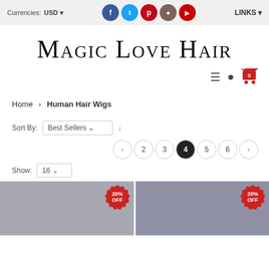Currencies: USD   LINKS
Magic Love Hair
Home > Human Hair Wigs
Sort By: Best Sellers
Pagination: < 2 3 4 5 6 >
Show: 16
[Figure (screenshot): Two product thumbnail images each with a 20% OFF badge in red]